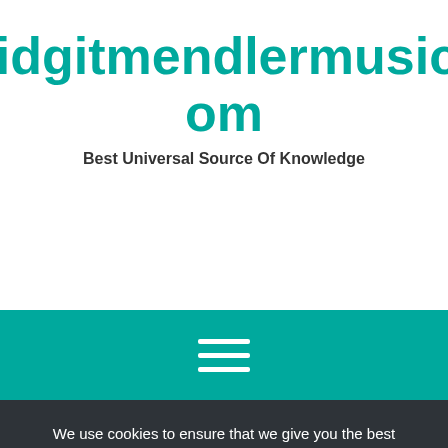Bridgitmendlermusic.Com
Best Universal Source Of Knowledge
[Figure (other): Teal navigation bar with hamburger menu icon (three horizontal white lines)]
We use cookies to ensure that we give you the best experience on our website. If you continue to use this site we will assume that you are happy with it.
Ok   Privacy policy